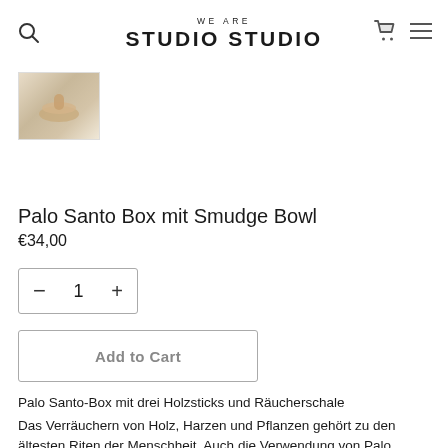WE ARE STUDIO STUDIO
[Figure (photo): Thumbnail image of the Palo Santo Box product showing wooden elements on light background]
Palo Santo Box mit Smudge Bowl
€34,00
- 1 +
Add to Cart
Palo Santo-Box mit drei Holzsticks und Räucherschale
Das Verräuchern von Holz, Harzen und Pflanzen gehört zu den ältesten Riten der Menschheit. Auch die Verwendung von Palo Santo